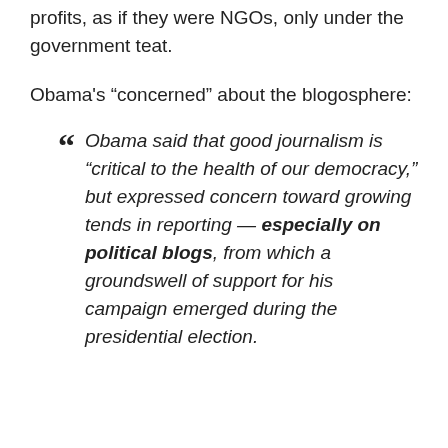profits, as if they were NGOs, only under the government teat.
Obama's “concerned” about the blogosphere:
Obama said that good journalism is “critical to the health of our democracy,” but expressed concern toward growing tends in reporting — especially on political blogs, from which a groundswell of support for his campaign emerged during the presidential election.